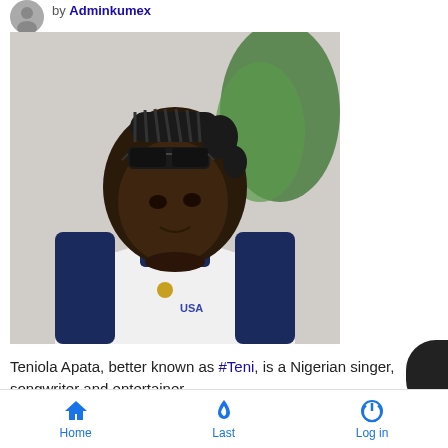by Adminkumex
[Figure (photo): Young Nigerian woman (Teniola Apata / Teni) wearing sunglasses on her head, braided hair, white jacket with stars on the collar, looking to the side. Green background elements visible.]
Teniola Apata, better known as #Teni, is a Nigerian singer, songwriter and entertainer.
Home  Last  Log in